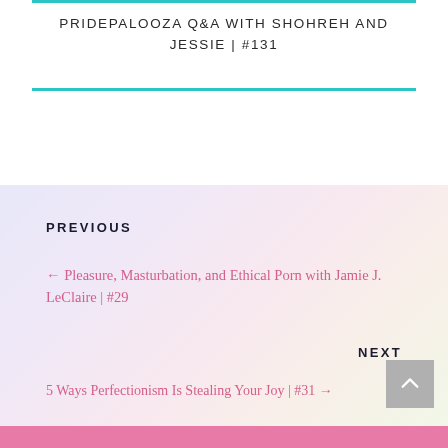PRIDEPALOOZA Q&A WITH SHOHREH AND JESSIE | #131
PREVIOUS
← Pleasure, Masturbation, and Ethical Porn with Jamie J. LeClaire | #29
NEXT
5 Ways Perfectionism Is Stealing Your Joy | #31 →